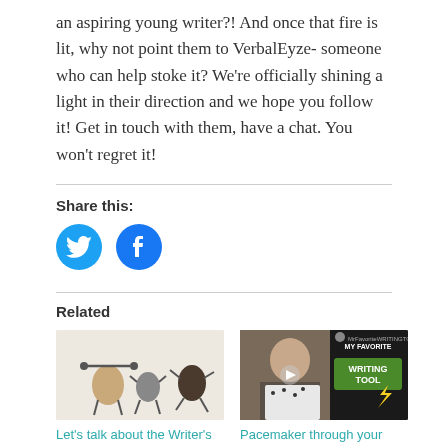an aspiring young writer?! And once that fire is lit, why not point them to VerbalEyze- someone who can help stoke it? We're officially shining a light in their direction and we hope you follow it! Get in touch with them, have a chat. You won't regret it!
Share this:
[Figure (illustration): Twitter and Facebook share buttons as blue circles with white icons]
Related
[Figure (photo): Thumbnail image of animated rock characters exercising]
Let's talk about the Writer's Games!
13 Mar 2017
[Figure (screenshot): Video thumbnail showing a woman with text 'MY FAVORITE WRITING TOOL']
Pacemaker through your eyes! - Bethany Atazadeh
Atazadeh